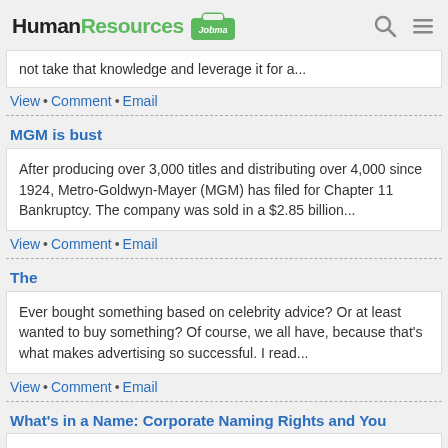HumanResources Jobma
not take that knowledge and leverage it for a...
View • Comment • Email
MGM is bust
After producing over 3,000 titles and distributing over 4,000 since 1924, Metro-Goldwyn-Mayer (MGM) has filed for Chapter 11 Bankruptcy. The company was sold in a $2.85 billion...
View • Comment • Email
The
Ever bought something based on celebrity advice? Or at least wanted to buy something? Of course, we all have, because that's what makes advertising so successful. I read...
View • Comment • Email
What's in a Name: Corporate Naming Rights and You
What is the emotional and brand value to have a company's name on the marquee of a sports stadium or some other municipal or public building? A theater? An event? A train...